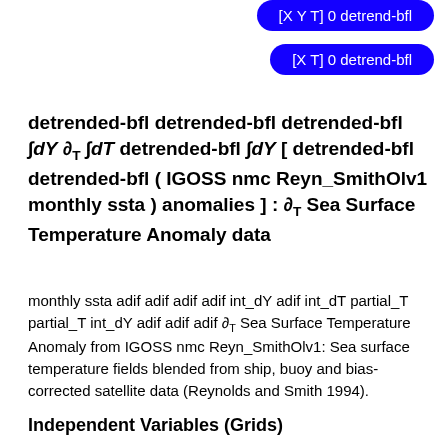[Figure (screenshot): Blue rounded button labeled '[X Y T] 0 detrend-bfl' at top right]
[Figure (screenshot): Blue rounded button labeled '[X T] 0 detrend-bfl' below first button]
detrended-bfl detrended-bfl detrended-bfl ∫dY ∂T ∫dT detrended-bfl ∫dY [ detrended-bfl detrended-bfl ( IGOSS nmc Reyn_SmithOlv1 monthly ssta ) anomalies ] : ∂T Sea Surface Temperature Anomaly data
monthly ssta adif adif adif adif int_dY adif int_dT partial_T partial_T int_dY adif adif adif ∂T Sea Surface Temperature Anomaly from IGOSS nmc Reyn_SmithOlv1: Sea surface temperature fields blended from ship, buoy and bias-corrected satellite data (Reynolds and Smith 1994).
Independent Variables (Grids)